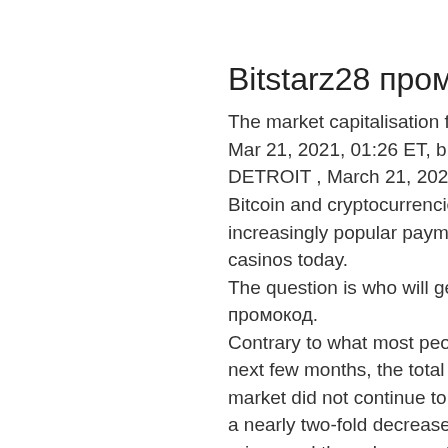Bitstarz28 промокод
The market capitalisation for this currency was $8. Mar 21, 2021, 01:26 ET, bitstarz28 промокод. DETROIT , March 21, 2021 /PRNewswire/ -- Bitcoin and cryptocurrencies have become an increasingly popular payment method for online casinos today.
The question is who will get this prize, bitstarz28 промокод.
Contrary to what most people expected, during the next few months, the total capitalization of the market did not continue to grow and instead, it saw a nearly two-fold decrease. This instability of the prices and the subsequent plummet was caused by the appearance of more and digital currencies, bitstarz28